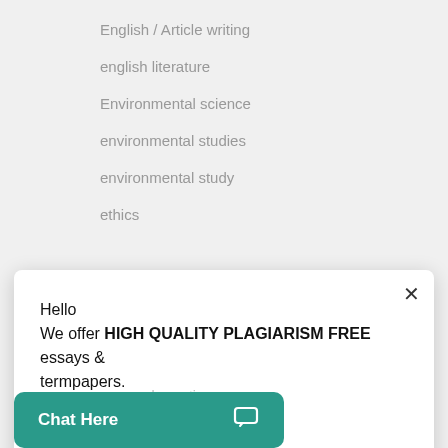English / Article writing
english literature
Environmental science
environmental studies
environmental study
ethics
Hello
We offer HIGH QUALITY PLAGIARISM FREE essays & termpapers.

Chat…
general question
Chat Here